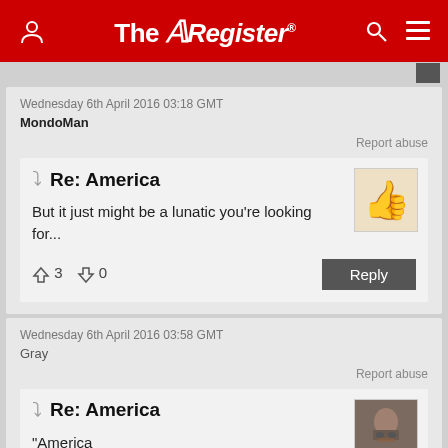The Register
Wednesday 6th April 2016 03:18 GMT
MondoMan
Report abuse
Re: America
But it just might be a lunatic you're looking for...
↑3  ↓0
Reply
Wednesday 6th April 2016 03:58 GMT
Gray
Report abuse
Re: America
"America